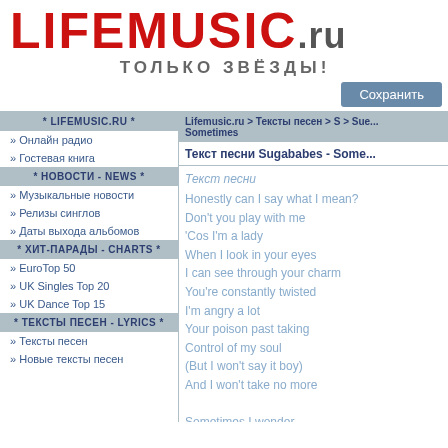LIFEMUSIC.ru
ТОЛЬКО ЗВЁЗДЫ!
Сохранить
* LIFEMUSIC.RU *
» Онлайн радио
» Гостевая книга
* НОВОСТИ - NEWS *
» Музыкальные новости
» Релизы синглов
» Даты выхода альбомов
* ХИТ-ПАРАДЫ - CHARTS *
» EuroTop 50
» UK Singles Top 20
» UK Dance Top 15
* ТЕКСТЫ ПЕСЕН - LYRICS *
» Тексты песен
» Новые тексты песен
Lifemusic.ru > Тексты песен > S > Sue... Sometimes
Текст песни Sugababes - Some...
Текст песни
Honestly can I say what I mean?
Don't you play with me
'Cos I'm a lady
When I look in your eyes
I can see through your charm
You're constantly twisted
I'm angry a lot
Your poison past taking
Control of my soul
(But I won't say it boy)
And I won't take no more

Sometimes I wonder...